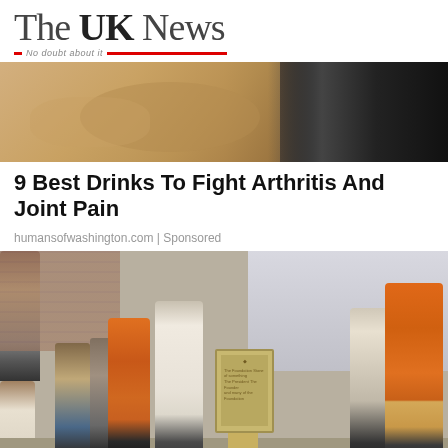The UK News — No doubt about it
[Figure (photo): Close-up photo of a person holding their knee, suggesting joint pain. Person wearing a black shirt.]
9 Best Drinks To Fight Arthritis And Joint Pain
humansofwashington.com | Sponsored
[Figure (photo): Outdoor ceremony photo with multiple people in traditional Indian attire including orange and white robes, standing near a plaque or monument. A man in orange robes is prominent on the right side.]